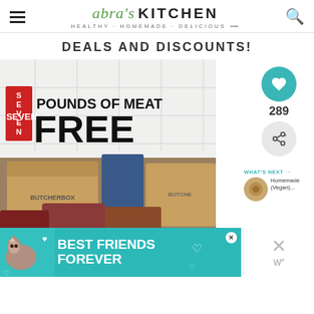Abra's Kitchen · HEALTHY · HOMEMADE · DELICIOUS
DEALS AND DISCOUNTS!
[Figure (photo): ButcherBox promotional image showing seven pounds of meat free offer with boxes of meat and seafood products on a white tile background]
[Figure (infographic): Pet food advertisement banner: BEST FRIENDS FOREVER with a cat image, teal/green background]
WHAT'S NEXT → Homemade (Vegan)...
289